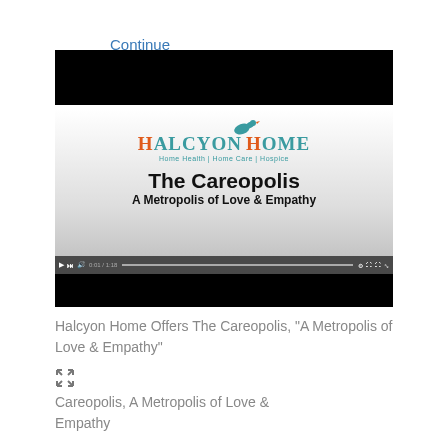Continue Reading
[Figure (screenshot): Video player thumbnail showing Halcyon Home logo and 'The Careopolis - A Metropolis of Love & Empathy' title slide]
Halcyon Home Offers The Careopolis, "A Metropolis of Love & Empathy"
[Figure (other): Expand/fullscreen icon]
Careopolis, A Metropolis of Love & Empathy